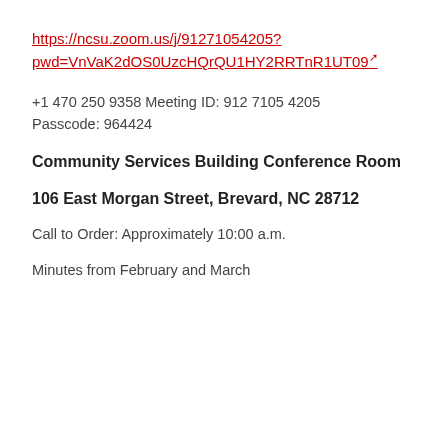https://ncsu.zoom.us/j/91271054205?pwd=VnVaK2dOS0UzcHQrQU1HY2RRTnR1UT09
+1 470 250 9358 Meeting ID: 912 7105 4205
Passcode: 964424
Community Services Building Conference Room
106 East Morgan Street, Brevard, NC 28712
Call to Order: Approximately 10:00 a.m.
Minutes from February and March